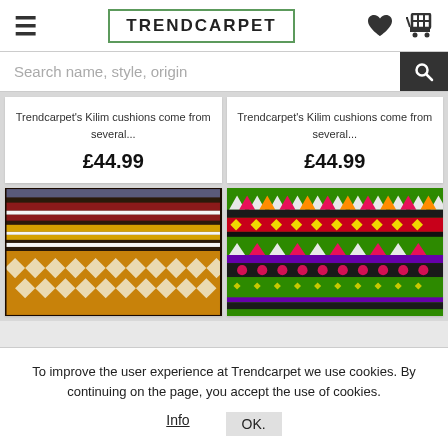TRENDCARPET
Search name, style, origin
Trendcarpet's Kilim cushions come from several... £44.99
Trendcarpet's Kilim cushions come from several... £44.99
[Figure (photo): Kilim cushion with striped and geometric pattern in dark red, yellow, black and white]
[Figure (photo): Kilim cushion with bright colorful geometric pattern in green, pink, yellow, orange, purple on green background]
To improve the user experience at Trendcarpet we use cookies. By continuing on the page, you accept the use of cookies.
Info  OK.